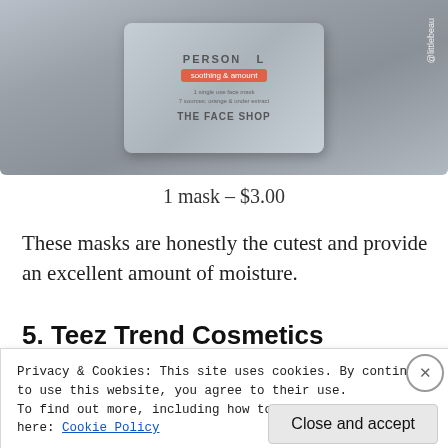[Figure (photo): Photo of The Face Shop face mask packet with brand label and product description on grey packaging]
1 mask – $3.00
These masks are honestly the cutest and provide an excellent amount of moisture.
5. Teez Trend Cosmetics
[Figure (photo): Photo of a dark maroon/burgundy lipstick product against a neutral background]
Privacy & Cookies: This site uses cookies. By continuing to use this website, you agree to their use.
To find out more, including how to control cookies, see here: Cookie Policy
Close and accept